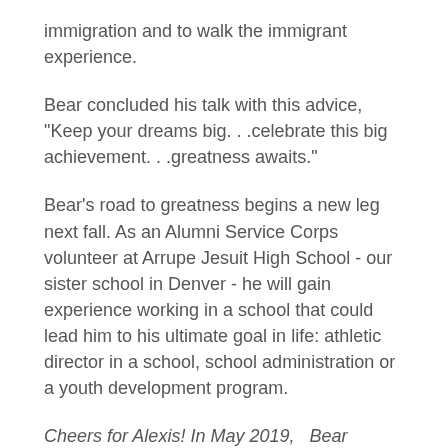immigration and to walk the immigrant experience.
Bear concluded his talk with this advice, "Keep your dreams big. . .celebrate this big achievement. . .greatness awaits."
Bear's road to greatness begins a new leg next fall. As an Alumni Service Corps volunteer at Arrupe Jesuit High School - our sister school in Denver - he will gain experience working in a school that could lead him to his ultimate goal in life: athletic director in a school, school administration or a youth development program.
Cheers for Alexis! In May 2019,   Bear earned dual degrees from Rockhurst University in Sports Management and Spanish.